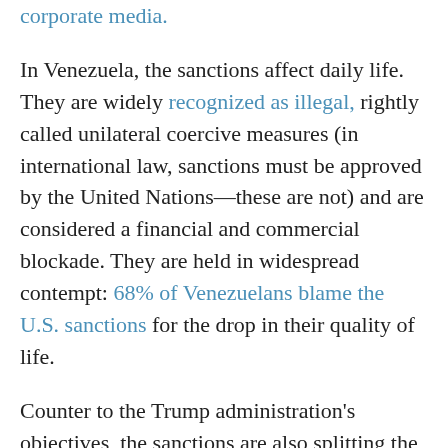corporate media.
In Venezuela, the sanctions affect daily life. They are widely recognized as illegal, rightly called unilateral coercive measures (in international law, sanctions must be approved by the United Nations—these are not) and are considered a financial and commercial blockade. They are held in widespread contempt: 68% of Venezuelans blame the U.S. sanctions for the drop in their quality of life.
Counter to the Trump administration's objectives, the sanctions are also splitting the Venezuelan opposition. On September 16, the Venezuelan government reached an agreement with four opposition political parties: Cambiemos, Soluciones, Avanzada Progresista